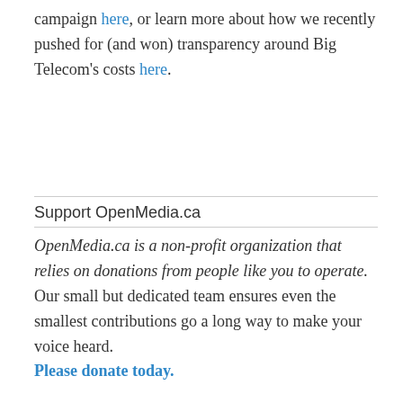campaign here, or learn more about how we recently pushed for (and won) transparency around Big Telecom's costs here.
Support OpenMedia.ca
OpenMedia.ca is a non-profit organization that relies on donations from people like you to operate. Our small but dedicated team ensures even the smallest contributions go a long way to make your voice heard. Please donate today.
November 14, 2012    Leave a Reply
From OpenMedia